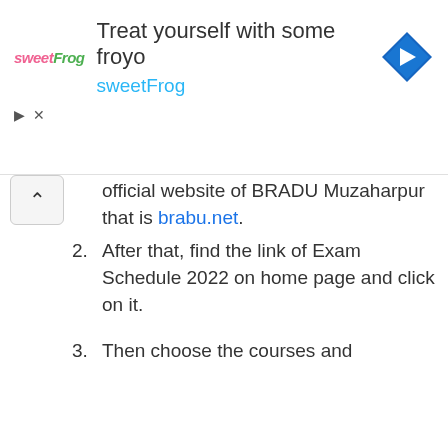[Figure (other): Advertisement banner for sweetFrog frozen yogurt, showing logo, headline 'Treat yourself with some froyo', subtext 'sweetFrog', and a navigation icon]
official website of BRABU Muzaharpur that is brabu.net.
2. After that, find the link of Exam Schedule 2022 on home page and click on it.
3. Then choose the courses and examination year from the list for which you want to check the exam dates.
4. The exam date sheet will display on the screen of each subject and stream.
5. Check the exam dates carefully and download the same in PDF format.
6. Candidates may take a hard copy of the date sheet for further...